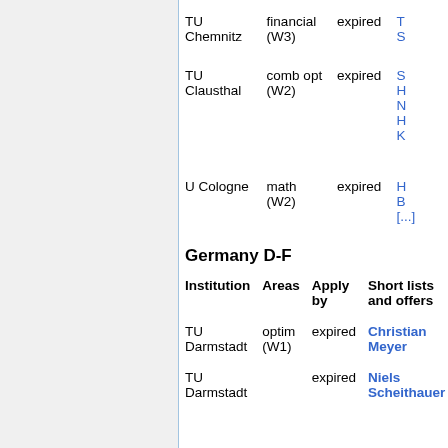| Institution | Areas | Apply by | Short lists and offers |
| --- | --- | --- | --- |
| TU Chemnitz | financial (W3) | expired | T... S... |
| TU Clausthal | comb opt (W2) | expired | S... H... N... H... K... |
| U Cologne | math (W2) | expired | H... B... [...] |
Germany D-F
| Institution | Areas | Apply by | Short lists and offers |
| --- | --- | --- | --- |
| TU Darmstadt | optim (W1) | expired | Christian Meyer |
| TU Darmstadt |  | expired | Niels Scheithauer |